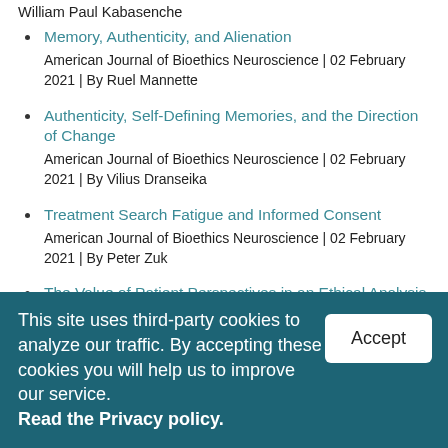William Paul Kabasenche
Memory, Authenticity, and Alienation
American Journal of Bioethics Neuroscience | 02 February 2021 | By Ruel Mannette
Authenticity, Self-Defining Memories, and the Direction of Change
American Journal of Bioethics Neuroscience | 02 February 2021 | By Vilius Dranseika
Treatment Search Fatigue and Informed Consent
American Journal of Bioethics Neuroscience | 02 February 2021 | By Peter Zuk
The Value of Patient Perspectives in an Ethical Analysis of Recruitment and Consent for Intracranial Electrophysiology
This site uses third-party cookies to analyze our traffic. By accepting these cookies you will help us to improve our service. Read the Privacy policy.